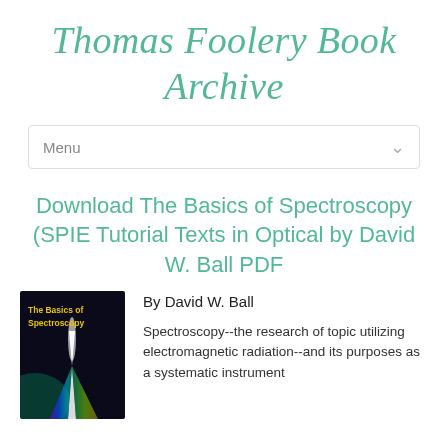Thomas Foolery Book Archive
Menu
Download The Basics of Spectroscopy (SPIE Tutorial Texts in Optical by David W. Ball PDF
[Figure (illustration): Book cover for 'The Basics of Spectroscopy' showing a dark background with a beam of light splitting into spectrum colors and yellow title text.]
By David W. Ball
Spectroscopy--the research of topic utilizing electromagnetic radiation--and its purposes as a systematic instrument